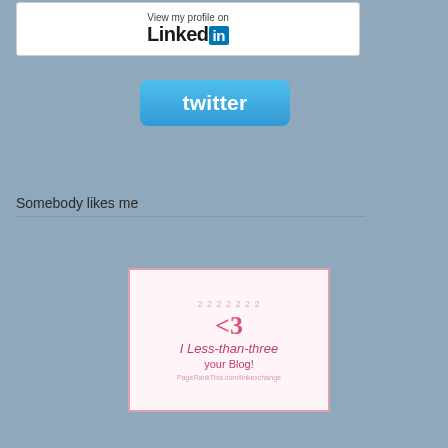[Figure (screenshot): LinkedIn 'View my profile on' button with LinkedIn logo]
[Figure (screenshot): Twitter button with 'twitter' text in white on blue rounded rectangle]
Somebody likes me
[Figure (screenshot): Pink badge with '<3' heart symbol and text 'I Less-than-three your Blog!']
[Figure (screenshot): Black badge reading 'Excellent' with large E letter, 'This Blog is Rated E for Excellent']
[Figure (screenshot): Thinking Blogger Award badge]
Remember the nest of barn swallows w... boogers are at it again. They moved to
[Figure (photo): Placeholder/broken image of barn swallows]
My friend Tracy says barn swallows are... Dispatch agrees.
But they're supposed to be good luck in...
Hey, I can use all the good luck I can g...